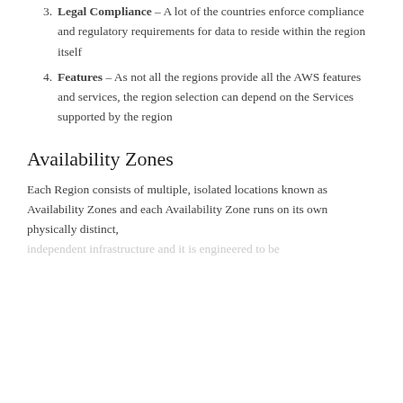3. Legal Compliance – A lot of the countries enforce compliance and regulatory requirements for data to reside within the region itself
4. Features – As not all the regions provide all the AWS features and services, the region selection can depend on the Services supported by the region
Availability Zones
Each Region consists of multiple, isolated locations known as Availability Zones and each Availability Zone runs on its own physically distinct,
[text continues, partially visible]